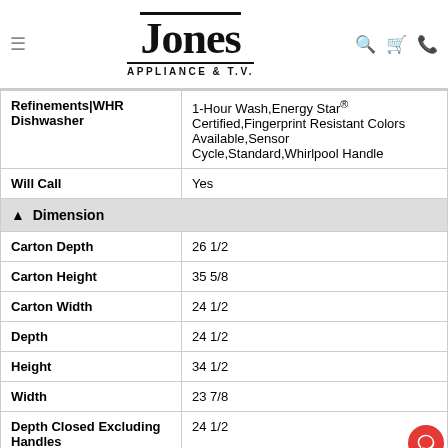Jones Appliance & T.V.
| Refinements|WHR Dishwasher | 1-Hour Wash,Energy Star® Certified,Fingerprint Resistant Colors Available,Sensor Cycle,Standard,Whirlpool Handle |
| Will Call | Yes |
| ▲  Dimension |  |
| Carton Depth | 26 1/2 |
| Carton Height | 35 5/8 |
| Carton Width | 24 1/2 |
| Depth | 24 1/2 |
| Height | 34 1/2 |
| Width | 23 7/8 |
| Depth Closed Excluding Handles | 24 1/2 |